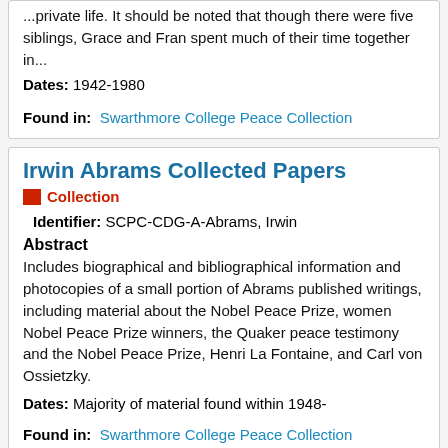...private life. It should be noted that though there were five siblings, Grace and Fran spent much of their time together in...
Dates: 1942-1980
Found in: Swarthmore College Peace Collection
Irwin Abrams Collected Papers
Collection
Identifier: SCPC-CDG-A-Abrams, Irwin
Abstract
Includes biographical and bibliographical information and photocopies of a small portion of Abrams published writings, including material about the Nobel Peace Prize, women Nobel Peace Prize winners, the Quaker peace testimony and the Nobel Peace Prize, Henri La Fontaine, and Carl von Ossietzky.
Dates: Majority of material found within 1948-
Found in: Swarthmore College Peace Collection